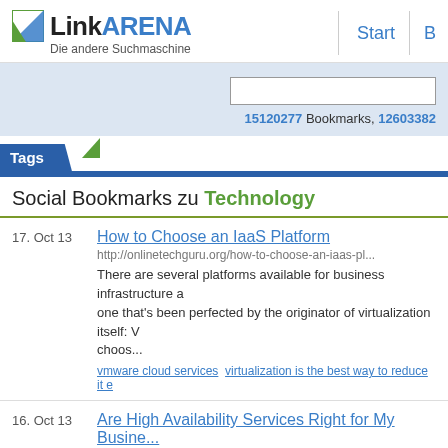LinkARENA - Die andere Suchmaschine | Start | ...
15120277 Bookmarks, 12603382...
Tags
Social Bookmarks zu Technology
17. Oct 13 | How to Choose an IaaS Platform | http://onlinetechguru.org/how-to-choose-an-iaas-pl... | There are several platforms available for business infrastructure a one that's been perfected by the originator of virtualization itself: V choos... | vmware cloud services  virtualization is the best way to reduce it e
16. Oct 13 | Are High Availability Services Right for My Busine... | http://www.hugebloggers.com/2013/10/02/are-high-av...